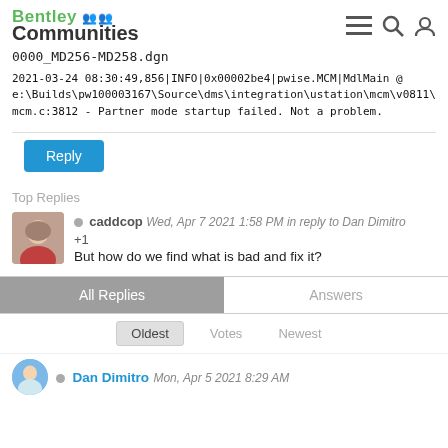Bentley Communities
0000_MD256-MD258.dgn
2021-03-24 08:30:49,856|INFO|0x00002be4|pwise.MCM|MdlMain @ e:\Builds\pw100003167\Source\dms\integration\ustation\mcm\v0811\mcm.c:3812 - Partner mode startup failed. Not a problem.
Reply
Top Replies
caddcop  Wed, Apr 7 2021 1:58 PM in reply to Dan Dimitro
+1
But how do we find what is bad and fix it?
All Replies | Answers
Oldest  Votes  Newest
Dan Dimitro  Mon, Apr 5 2021 8:29 AM